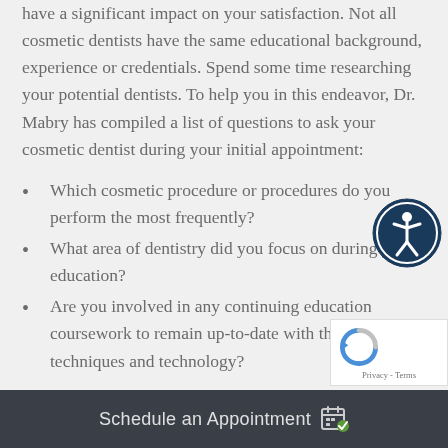have a significant impact on your satisfaction. Not all cosmetic dentists have the same educational background, experience or credentials. Spend some time researching your potential dentists. To help you in this endeavor, Dr. Mabry has compiled a list of questions to ask your cosmetic dentist during your initial appointment:
Which cosmetic procedure or procedures do you perform the most frequently?
What area of dentistry did you focus on during your education?
Are you involved in any continuing education coursework to remain up-to-date with the latest techniques and technology?
Schedule an Appointment